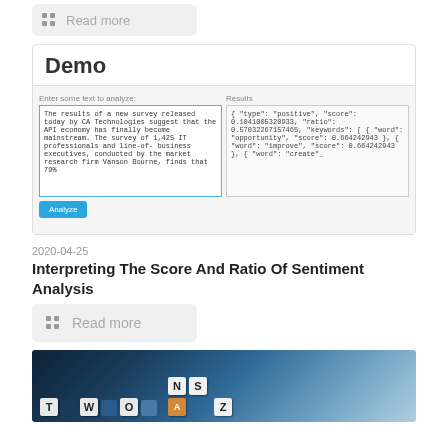Read more
[Figure (screenshot): Demo widget showing a sentiment analysis interface with text input on the left containing a paragraph about CA Technologies API economy survey, and JSON results on the right showing type: positive, score, ratio, and keywords including opportunity, improve, create. An Analyze button is shown below the text area.]
2020-04-25
Interpreting The Score And Ratio Of Sentiment Analysis
Read more
[Figure (photo): Photo of Scrabble letter tiles on a dark board, showing letters T, N, S, A, W, O, Z among others with blue and dark tiles visible.]